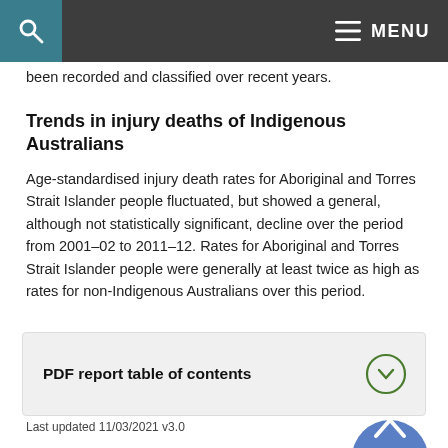MENU
been recorded and classified over recent years.
Trends in injury deaths of Indigenous Australians
Age-standardised injury death rates for Aboriginal and Torres Strait Islander people fluctuated, but showed a general, although not statistically significant, decline over the period from 2001–02 to 2011–12. Rates for Aboriginal and Torres Strait Islander people were generally at least twice as high as rates for non-Indigenous Australians over this period.
PDF report table of contents
Last updated 11/03/2021 v3.0